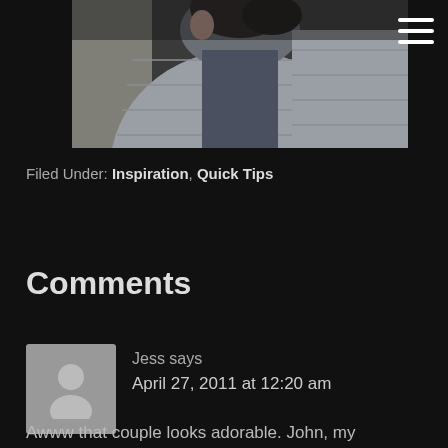[Figure (photo): Cropped photo of a person wearing a grey quilted puffer jacket, dark clothing underneath, partial face visible, dark background]
Filed Under: Inspiration, Quick Tips
Comments
Jess says
April 27, 2011 at 12:20 am
Awww that couple looks adorable. John, my